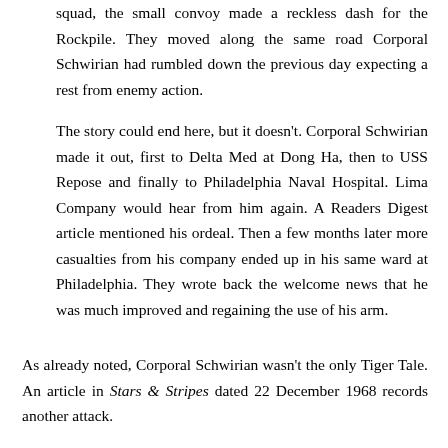squad, the small convoy made a reckless dash for the Rockpile. They moved along the same road Corporal Schwirian had rumbled down the previous day expecting a rest from enemy action.
The story could end here, but it doesn't. Corporal Schwirian made it out, first to Delta Med at Dong Ha, then to USS Repose and finally to Philadelphia Naval Hospital. Lima Company would hear from him again. A Readers Digest article mentioned his ordeal. Then a few months later more casualties from his company ended up in his same ward at Philadelphia. They wrote back the welcome news that he was much improved and regaining the use of his arm.
As already noted, Corporal Schwirian wasn't the only Tiger Tale. An article in Stars & Stripes dated 22 December 1968 records another attack.